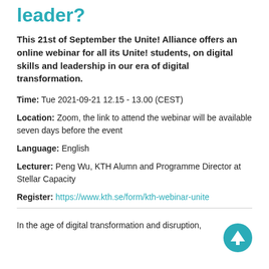leader?
This 21st of September the Unite! Alliance offers an online webinar for all its Unite! students, on digital skills and leadership in our era of digital transformation.
Time: Tue 2021-09-21 12.15 - 13.00 (CEST)
Location: Zoom, the link to attend the webinar will be available seven days before the event
Language: English
Lecturer: Peng Wu, KTH Alumn and Programme Director at Stellar Capacity
Register: https://www.kth.se/form/kth-webinar-unite
In the age of digital transformation and disruption,